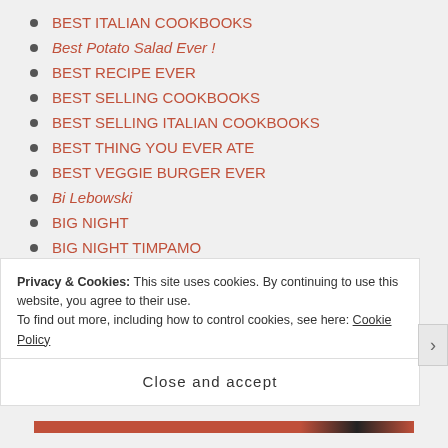BEST ITALIAN COOKBOOKS
Best Potato Salad Ever !
BEST RECIPE EVER
BEST SELLING COOKBOOKS
BEST SELLING ITALIAN COOKBOOKS
BEST THING YOU EVER ATE
BEST VEGGIE BURGER EVER
Bi Lebowski
BIG NIGHT
BIG NIGHT TIMPAMO
BIGFOOt ANYHONY BOURDAIN
BILLIONAIRE VODKA
Privacy & Cookies: This site uses cookies. By continuing to use this website, you agree to their use.
To find out more, including how to control cookies, see here: Cookie Policy
Close and accept